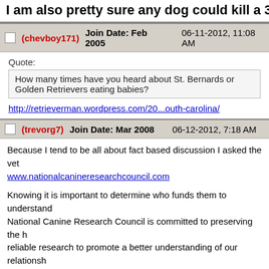I am also pretty sure any dog could kill a 3 day old baby...
(chevboy171)   Join Date: Feb 2005   06-11-2012, 11:08 AM
Quote:
How many times have you heard about St. Bernards or Golden Retrievers eating babies?
http://retrieverman.wordpress.com/20...outh-carolina/
(trevorg7)   Join Date: Mar 2008   06-12-2012, 7:18 AM
Because I tend to be all about fact based discussion I asked the vet www.nationalcanineresearchcouncil.com

Knowing it is important to determine who funds them to understand National Canine Research Council is committed to preserving the h reliable research to promote a better understanding of our relationsh

We make grants to universities, independent research organizations issues that impact the human-canine bond, including the dynamics o dog bites; public policy concerning companion animals;and media re

Bottom line they investigate, year over year for the past 20 years, do report for 2010 which is 50 pages long. http://nationalcanineresearc

I'll quote a few things here; not to cut and paste but to shorten the re

There were 33 dog bite-related fatalities in 2010.

33 fatalities occurred within a human population of more than 300